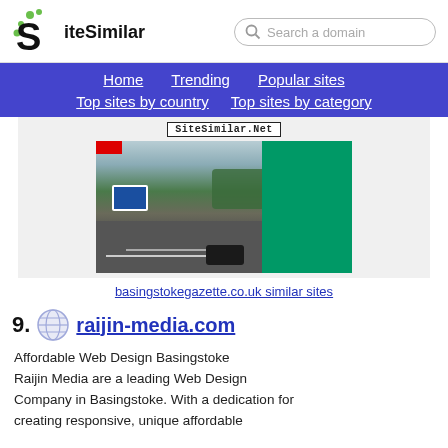SiteSimilar — Search a domain
Home  Trending  Popular sites  Top sites by country  Top sites by category
[Figure (screenshot): Screenshot card showing basingstokegazette.co.uk website with a motorway road image and a green panel overlay]
basingstokegazette.co.uk similar sites
9. raijin-media.com
Affordable Web Design Basingstoke Raijin Media are a leading Web Design Company in Basingstoke. With a dedication for creating responsive, unique affordable